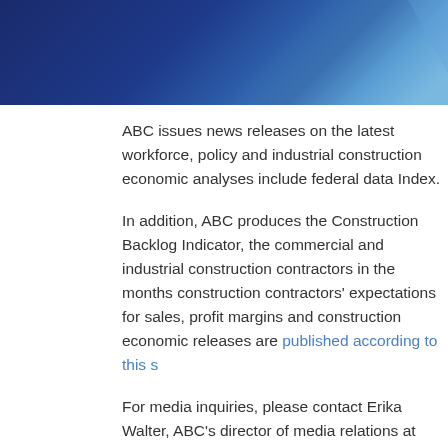[Figure (photo): Dark blue gradient header banner with geometric light blue triangular shapes on the right side]
ABC issues news releases on the latest workforce, policy and industrial construction economic analyses include federal da Index.
In addition, ABC produces the Construction Backlog Indicator, the commercial and industrial construction contractors in the months construction contractors' expectations for sales, profit margins a construction economic releases are published according to this s
For media inquiries, please contact Erika Walter, ABC's director of media relations at ewalter@abc.org or (202)905-2104
Click here to subscribe to ABC's news releases or here to receive ABC's weekly newsletter, Newsline.
ARCHIVES
2015